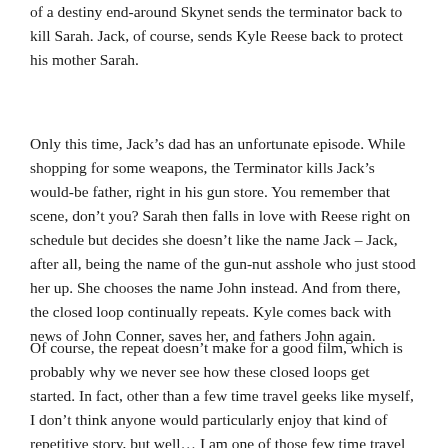of a destiny end-around Skynet sends the terminator back to kill Sarah. Jack, of course, sends Kyle Reese back to protect his mother Sarah.
Only this time, Jack's dad has an unfortunate episode. While shopping for some weapons, the Terminator kills Jack's would-be father, right in his gun store. You remember that scene, don't you? Sarah then falls in love with Reese right on schedule but decides she doesn't like the name Jack – Jack, after all, being the name of the gun-nut asshole who just stood her up. She chooses the name John instead. And from there, the closed loop continually repeats. Kyle comes back with news of John Conner, saves her, and fathers John again.
Of course, the repeat doesn't make for a good film, which is probably why we never see how these closed loops get started. In fact, other than a few time travel geeks like myself, I don't think anyone would particularly enjoy that kind of repetitive story, but well… I am one of those few time travel geeks, and I obsess about it.